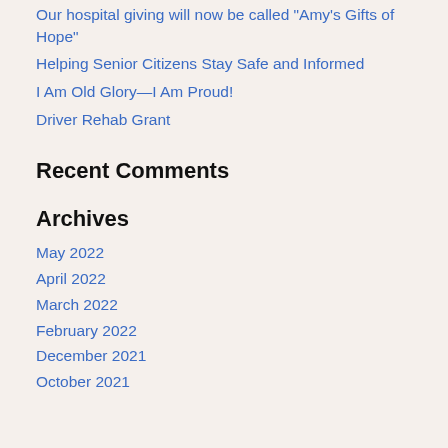Our hospital giving will now be called "Amy's Gifts of Hope"
Helping Senior Citizens Stay Safe and Informed
I Am Old Glory—I Am Proud!
Driver Rehab Grant
Recent Comments
Archives
May 2022
April 2022
March 2022
February 2022
December 2021
October 2021